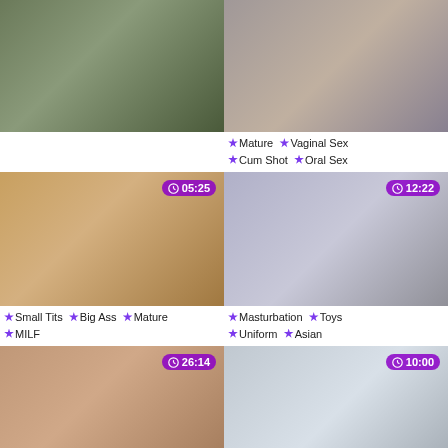[Figure (screenshot): Video thumbnail 1: outdoor bench scene]
[Figure (screenshot): Video thumbnail 2: indoor scene with timer 05:25]
Mature  Vaginal Sex  Cum Shot  Oral Sex
Small Tits  Big Ass  Mature  MILF
[Figure (screenshot): Video thumbnail 3: Asian girl with timer 12:22]
Masturbation  Toys  Uniform  Asian
[Figure (screenshot): Video thumbnail 4: blonde woman with timer 26:14]
Paid  Best  Private School  HD Videos
[Figure (screenshot): Video thumbnail 5: blonde in uniform with timer 10:00]
Granny  Big Ass  Blonde  Stockings